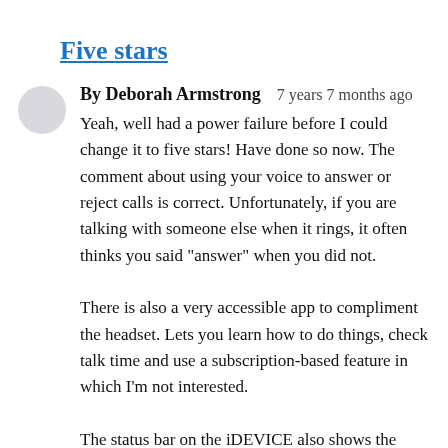Five stars
By Deborah Armstrong   7 years 7 months ago
Yeah, well had a power failure before I could change it to five stars! Have done so now. The comment about using your voice to answer or reject calls is correct. Unfortunately, if you are talking with someone else when it rings, it often thinks you said "answer" when you did not.
There is also a very accessible app to compliment the headset. Lets you learn how to do things, check talk time and use a subscription-based feature in which I'm not interested.
The status bar on the iDEVICE also shows the battery status of this headset.